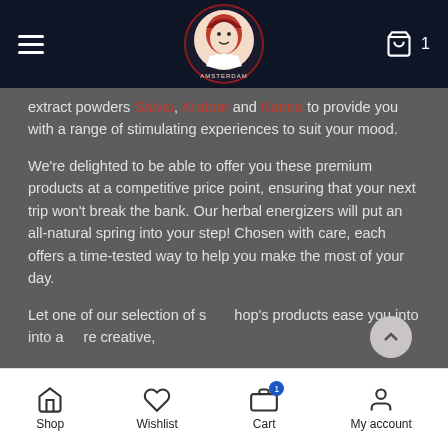Holland's High Amsterdam — navigation header with logo
extract powders Salvia, Kratom and Kanna to provide you with a range of stimulating experiences to suit your mood.
We're delighted to be able to offer you these premium products at a competitive price point, ensuring that your next trip won't break the bank. Our herbal energizers will put an all-natural spring into your step! Chosen with care, each offers a time-tested way to help you make the most of your day.
Let one of our selection of shop's products ease you into into a more creative,
Shop  Wishlist  Cart  My account